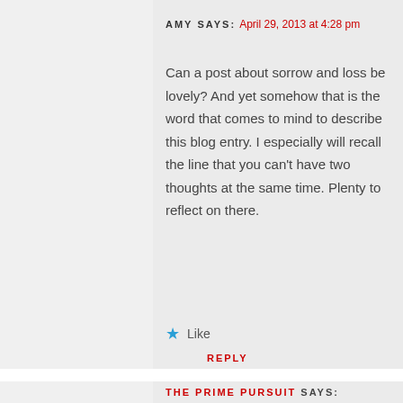AMY SAYS: April 29, 2013 at 4:28 pm
Can a post about sorrow and loss be lovely? And yet somehow that is the word that comes to mind to describe this blog entry. I especially will recall the line that you can't have two thoughts at the same time. Plenty to reflect on there.
★ Like
REPLY
THE PRIME PURSUIT SAYS: